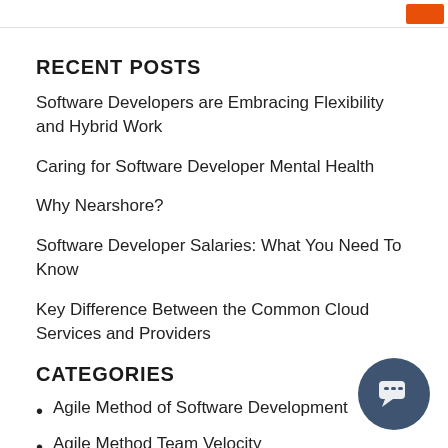RECENT POSTS
Software Developers are Embracing Flexibility and Hybrid Work
Caring for Software Developer Mental Health
Why Nearshore?
Software Developer Salaries: What You Need To Know
Key Difference Between the Common Cloud Services and Providers
CATEGORIES
Agile Method of Software Development
Agile Method Team Velocity